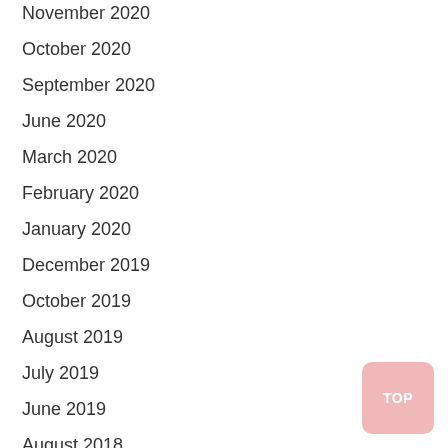November 2020
October 2020
September 2020
June 2020
March 2020
February 2020
January 2020
December 2019
October 2019
August 2019
July 2019
June 2019
August 2018
TOP